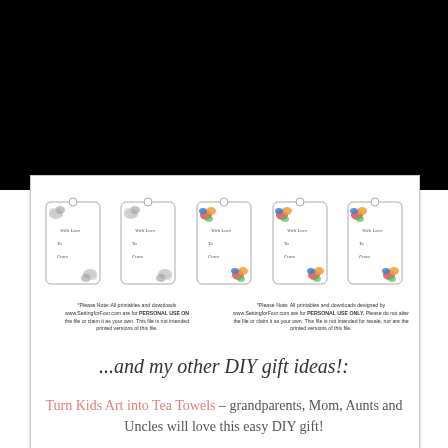[Figure (illustration): Row of five gift tags with decorative floral designs. First two tags have black-and-white floral illustration in top-left and bottom-right corners, with cursive text 'With Love', 'To', 'From'. Last three tags have full-color floral bouquet illustrations in top-left and bottom corners with same cursive text fields.]
*Please Note: All printables and downloads www.SettingforFour.com are for PERSONAL USE ON the file or claim it as your own. This file is not intended printed versions of this file.
*Please Note: All printables and downloads designed by www.SettingforFour.com are for PERSONAL USE ONLY. Please do not alter the file or claim it as your own. This file is not intended for resale, nor are the printed versions of this file.
...and my other DIY gift ideas!:
Turn Kids Art into Tea Towels – grandparents, Mom, Aunts and Uncles will love this easy DIY gift!